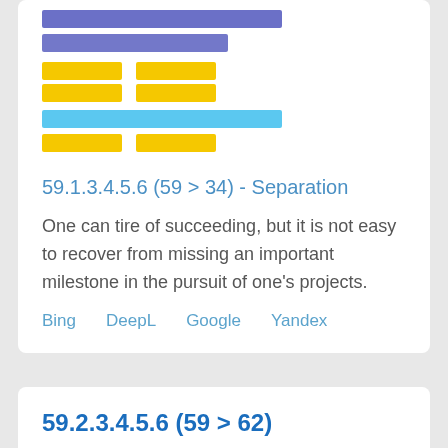[Figure (other): I Ching hexagram visual made of colored bars: dark blue full bar, dark blue half bar, then pairs of yellow half bars, a light blue full bar, and yellow half bars]
59.1.3.4.5.6 (59 > 34) - Separation
One can tire of succeeding, but it is not easy to recover from missing an important milestone in the pursuit of one's projects.
Bing   DeepL   Google   Yandex
59.2.3.4.5.6 (59 > 62)
James Legge